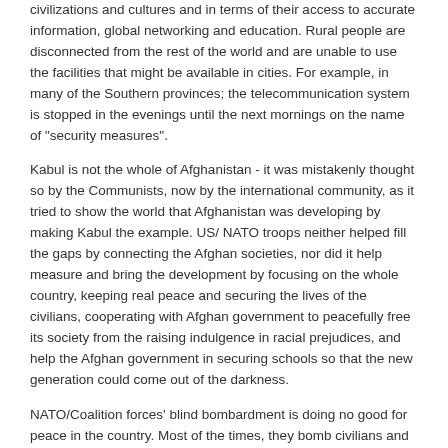civilizations and cultures and in terms of their access to accurate information, global networking and education. Rural people are disconnected from the rest of the world and are unable to use the facilities that might be available in cities. For example, in many of the Southern provinces; the telecommunication system is stopped in the evenings until the next mornings on the name of "security measures".
Kabul is not the whole of Afghanistan - it was mistakenly thought so by the Communists, now by the international community, as it tried to show the world that Afghanistan was developing by making Kabul the example. US/ NATO troops neither helped fill the gaps by connecting the Afghan societies, nor did it help measure and bring the development by focusing on the whole country, keeping real peace and securing the lives of the civilians, cooperating with Afghan government to peacefully free its society from the raising indulgence in racial prejudices, and help the Afghan government in securing schools so that the new generation could come out of the darkness.
NATO/Coalition forces' blind bombardment is doing no good for peace in the country. Most of the times, they bomb civilians and that feeds into insurgency. People who lose their dear ones for no reason eventually take the opposite side and try to take revenge by being used in planting road side bombs, becoming suicide bombers and armed fighters against the Afghan and International Forces.